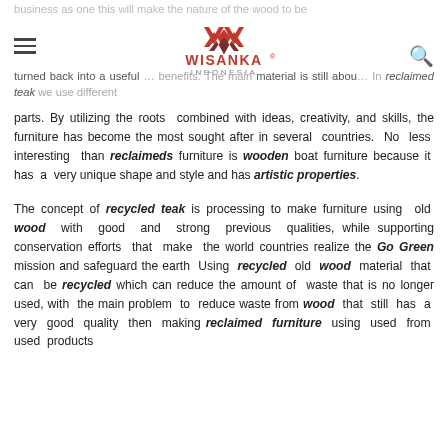Wisanka Indonesia logo with hamburger menu and search icon
business as one this will make the nature of the wood to be turned back into a useful... benefits. The main material is still about... In reclaimed teak we use different parts. By utilizing the roots combined with ideas, creativity, and skills, the furniture has become the most sought after in several countries. No less interesting than reclaimeds furniture is wooden boat furniture because it has a very unique shape and style and has artistic properties.
The concept of recycled teak is processing to make furniture using old wood with good and strong previous qualities, while supporting conservation efforts that make the world countries realize the Go Green mission and safeguard the earth Using recycled old wood material that can be recycled which can reduce the amount of waste that is no longer used, with the main problem to reduce waste from wood that still has a very good quality then making reclaimed furniture using used from used products